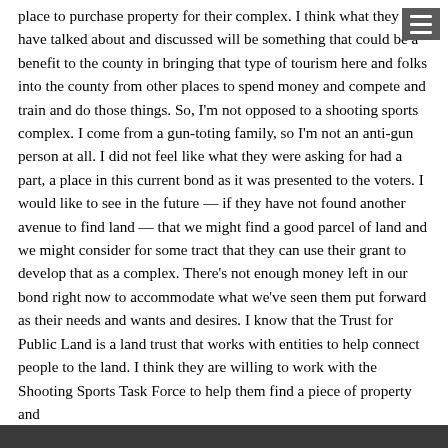place to purchase property for their complex. I think what they have talked about and discussed will be something that could be a benefit to the county in bringing that type of tourism here and folks into the county from other places to spend money and compete and train and do those things. So, I'm not opposed to a shooting sports complex. I come from a gun-toting family, so I'm not an anti-gun person at all. I did not feel like what they were asking for had a part, a place in this current bond as it was presented to the voters. I would like to see in the future — if they have not found another avenue to find land — that we might find a good parcel of land and we might consider for some tract that they can use their grant to develop that as a complex. There's not enough money left in our bond right now to accommodate what we've seen them put forward as their needs and wants and desires. I know that the Trust for Public Land is a land trust that works with entities to help connect people to the land. I think they are willing to work with the Shooting Sports Task Force to help them find a piece of property and...